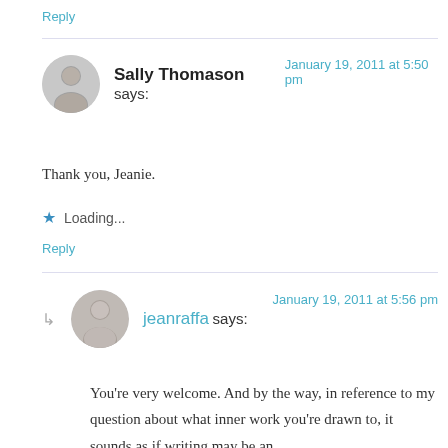Reply
Sally Thomason says: January 19, 2011 at 5:50 pm
Thank you, Jeanie.
Loading...
Reply
jeanraffa says: January 19, 2011 at 5:56 pm
You’re very welcome. And by the way, in reference to my question about what inner work you’re drawn to, it sounds as if writing may be an